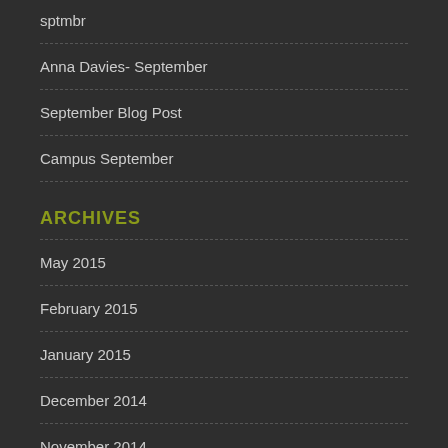sptmbr
Anna Davies- September
September Blog Post
Campus September
ARCHIVES
May 2015
February 2015
January 2015
December 2014
November 2014
October 2014
September 2014